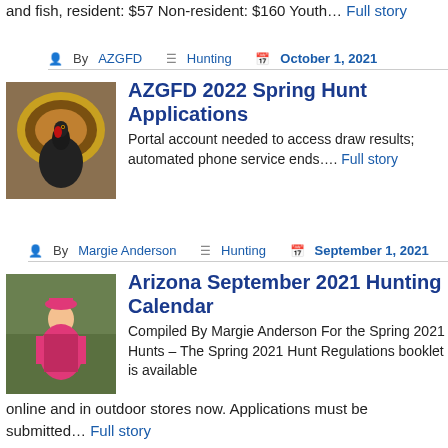and fish, resident: $57 Non-resident: $160 Youth… Full story
By AZGFD | Hunting | October 1, 2021
AZGFD 2022 Spring Hunt Applications
Portal account needed to access draw results; automated phone service ends…. Full story
[Figure (photo): Turkey bird with fanned tail feathers]
By Margie Anderson | Hunting | September 1, 2021
Arizona September 2021 Hunting Calendar
Compiled By Margie Anderson For the Spring 2021 Hunts – The Spring 2021 Hunt Regulations booklet is available online and in outdoor stores now. Applications must be submitted… Full story
[Figure (photo): Woman in pink jacket outdoors]